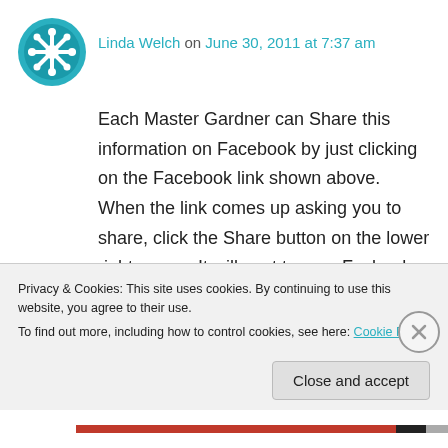[Figure (logo): Teal/cyan decorative circular avatar icon with snowflake-like pattern]
Linda Welch on June 30, 2011 at 7:37 am
Each Master Gardner can Share this information on Facebook by just clicking on the Facebook link shown above. When the link comes up asking you to share, click the Share button on the lower right corner. It will post to your Facbook page. This informs your friends and family. If we all do that we will help to inform all our friends and family of the information. We can
Privacy & Cookies: This site uses cookies. By continuing to use this website, you agree to their use.
To find out more, including how to control cookies, see here: Cookie Policy
Close and accept